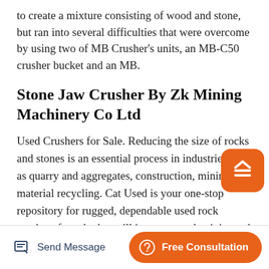to create a mixture consisting of wood and stone, but ran into several difficulties that were overcome by using two of MB Crusher's units, an MB-C50 crusher bucket and an MB.
Stone Jaw Crusher By Zk Mining Machinery Co Ltd
Used Crushers for Sale. Reducing the size of rocks and stones is an essential process in industries such as quarry and aggregates, construction, mining and material recycling. Cat Used is your one-stop repository for rugged, dependable used rock crushers for sale that will increase productivity and efficiency at your job sites.
Send Message | Free Consultation